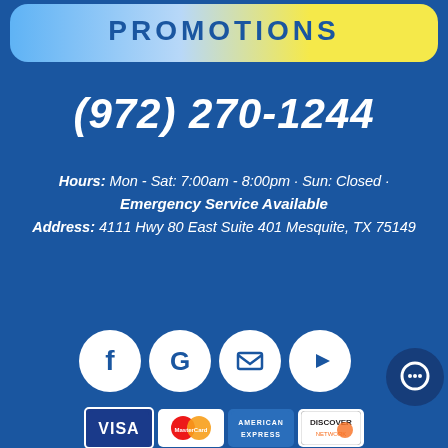[Figure (other): Promotions banner at top with gradient blue-yellow rounded rectangle]
(972) 270-1244
Hours: Mon - Sat: 7:00am - 8:00pm · Sun: Closed · Emergency Service Available
Address: 4111 Hwy 80 East Suite 401 Mesquite, TX 75149
[Figure (other): Social media icons: Facebook, Google, Email, YouTube, and a chat bubble icon]
[Figure (other): Payment method logos: Visa, MasterCard, American Express, Discover]